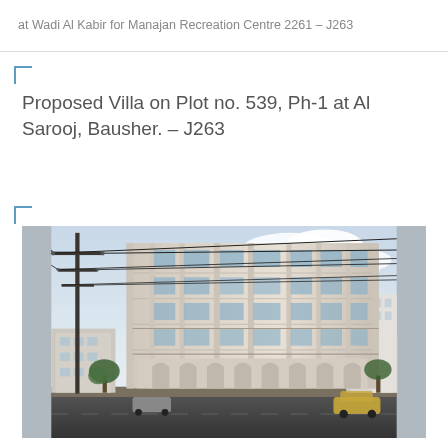at Wadi Al Kabir for Manajan Recreation Centre 2261 – J263
Proposed Villa on Plot no. 539, Ph-1 at Al Sarooj, Bausher. – J263
[Figure (photo): Architectural rendering of a multi-storey classical-style building (approximately 7 floors) with ornate facade, balconies, arched ground-floor entrances, and large windows. A utility pole with power lines is visible in the foreground on the left. Surrounding urban context shows other buildings and parked vehicles.]